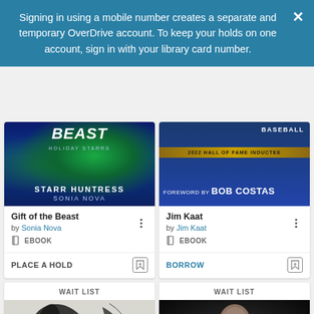Signing in using a mobile number creates a separate and temporary OverDrive account. To keep your holds on one account, sign in with your library card number.
[Figure (screenshot): Book card for 'Gift of the Beast' by Sonia Nova — Ebook, Place a Hold button]
[Figure (screenshot): Book card for 'Jim Kaat' by Jim Kaat — Ebook, Borrow button]
[Figure (screenshot): Wait List book card with abstract swirl cover]
[Figure (screenshot): Wait List book card with man photo cover]